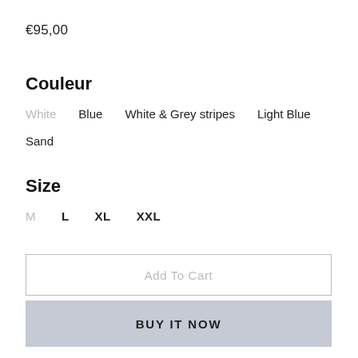€95,00
Couleur
White   Blue   White & Grey stripes   Light Blue
Sand
Size
M   L   XL   XXL
Add To Cart
BUY IT NOW